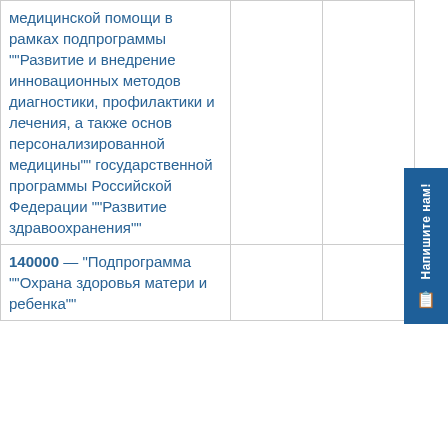| медицинской помощи в рамках подпрограммы ""Развитие и внедрение инновационных методов диагностики, профилактики и лечения, а также основ персонализированной медицины"" государственной программы Российской Федерации ""Развитие здравоохранения"" |  |  |
| 140000 — "Подпрограмма ""Охрана здоровья матери и ребенка"" |  |  |